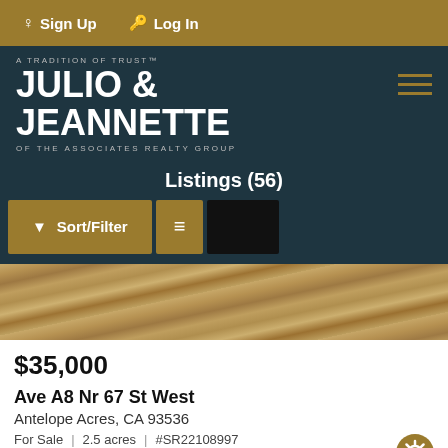Sign Up  Log In
[Figure (logo): Julio & Jeannette of the Associates Realty Group logo on dark teal background with hamburger menu icon]
Listings (56)
Sort/Filter  [list view button]  [black button]
[Figure (photo): Dry grassy land aerial photo showing a land listing]
$35,000
Ave A8 Nr 67 St West
Antelope Acres, CA 93536
For Sale  |  2.5 acres  |  #SR22108997
Big Valley Real Estate